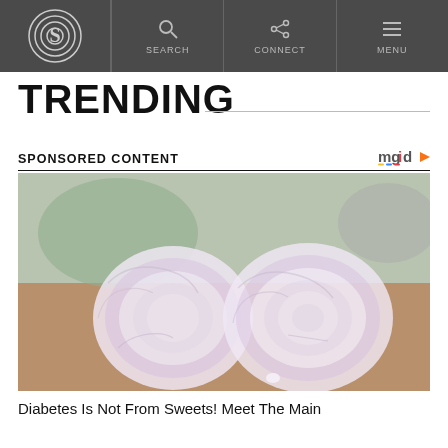S | SEARCH | CONNECT | MENU
TRENDING
SPONSORED CONTENT | mgid
[Figure (photo): Two coiled translucent white ring-shaped food items (likely konjac or similar) on a wooden cutting board with a blue/green bowl in the background]
Diabetes Is Not From Sweets! Meet The Main